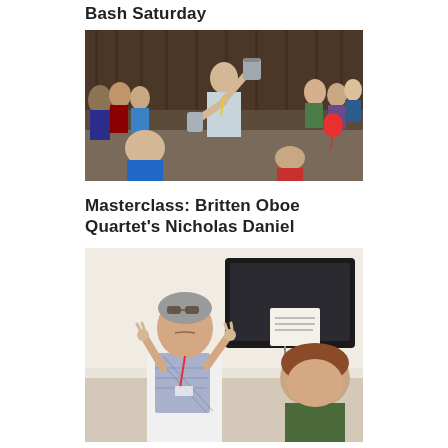Bash Saturday
[Figure (photo): A man smiling and holding a cylindrical drum/tin aloft amid a crowd of children and adults in a performance space. Several children are also holding small drums. A red balloon is visible in the background.]
Masterclass: Britten Oboe Quartet's Nicholas Daniel
[Figure (photo): A man with grey hair and a patterned scarf gestures with his fingers near his ears as if listening, facing a woman in a music masterclass setting. A grand piano and music stand are visible in the background.]